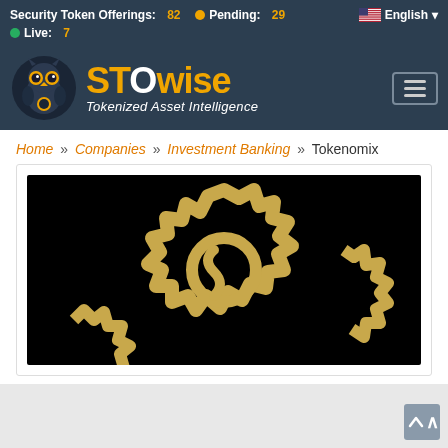Security Token Offerings: 82  Pending: 29  Live: 7  English
[Figure (logo): STOwise logo with owl mascot and text 'STOwise Tokenized Asset Intelligence' on dark background]
Home » Companies » Investment Banking » Tokenomix
[Figure (logo): Tokenomix logo: gold gear/cog icon made of zigzag shapes on black background]